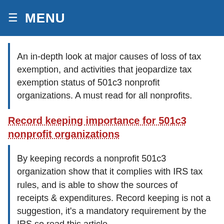≡ MENU
An in-depth look at major causes of loss of tax exemption, and activities that jeopardize tax exemption status of 501c3 nonprofit organizations. A must read for all nonprofits.
Record keeping importance for 501c3 nonprofit organizations
By keeping records a nonprofit 501c3 organization show that it complies with IRS tax rules, and is able to show the sources of receipts & expenditures. Record keeping is not a suggestion, it's a mandatory requirement by the IRS so read this article.
How does IRS audit 501c3 nonprofits & compliance check process